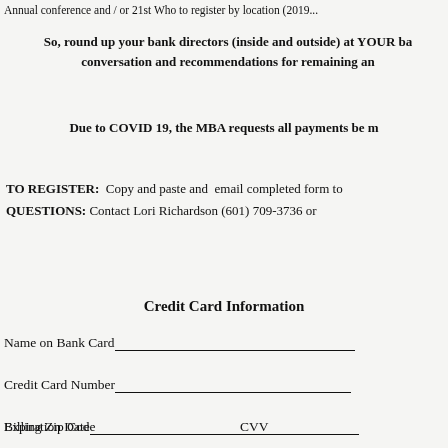Annual conference and / or 21st Who to register by location (2019...
So, round up your bank directors (inside and outside) at YOUR bank and join the conversation and recommendations for remaining an effective director.
Due to COVID 19, the MBA requests all payments be made by...
TO REGISTER: Copy and paste and email completed form to ... QUESTIONS: Contact Lori Richardson (601) 709-3736 or ...
Credit Card Information
Name on Bank Card
Credit Card Number
Expiration Date      CVV
Billing Zip Code